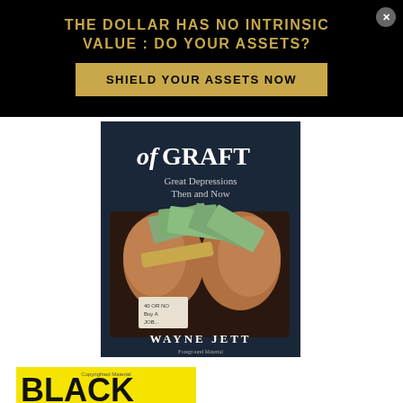THE DOLLAR HAS NO INTRINSIC VALUE : DO YOUR ASSETS?
SHIELD YOUR ASSETS NOW
[Figure (photo): Book cover for 'of GRAFT: Great Depressions Then and Now' by Wayne Jett, showing hands clutching dollar bills and a gold bar]
[Figure (photo): Book cover showing 'BLACK' in large bold black text on a yellow background]